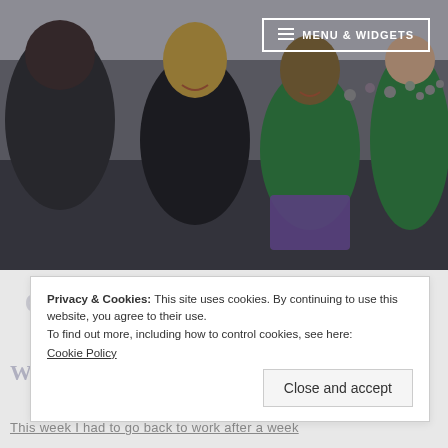[Figure (photo): Hero image of people at a powerlifting event, smiling and celebrating. Shows several people including women in green and black shirts, with a crowd in the background.]
≡ MENU & WIDGETS
Donna the Destroyer
My Journey with Powerlifting
Category: lemons
When life gives you lemons
Privacy & Cookies: This site uses cookies. By continuing to use this website, you agree to their use.
To find out more, including how to control cookies, see here:
Cookie Policy
Close and accept
This week I had to go back to work after a week